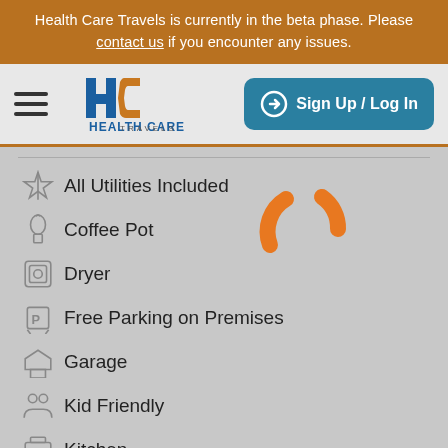Health Care Travels is currently in the beta phase. Please contact us if you encounter any issues.
[Figure (logo): Health Care Travels logo with HC monogram in blue and orange, hamburger menu icon, and Sign Up / Log In button]
All Utilities Included
Coffee Pot
Dryer
Free Parking on Premises
Garage
Kid Friendly
Kitchen
Netflix